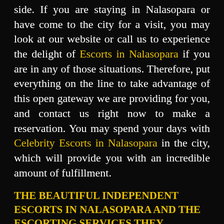side. If you are staying in Nalasopara or have come to the city for a visit, you may look at our website or call us to experience the delight of Escorts in Nalasopara if you are in any of those situations. Therefore, put everything on the line to take advantage of this open gateway we are providing for you, and contact us right now to make a reservation. You may spend your days with Celebrity Escorts in Nalasopara in the city, which will provide you with an incredible amount of fulfillment.
THE BEAUTIFUL INDEPENDENT ESCORTS IN NALASOPARA AND THE ESCORTING SERVICES THEY PROVIDE
It is difficult to locate call girls from Nalasopara